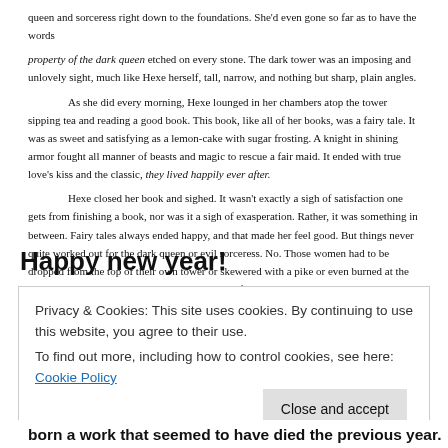queen and sorceress right down to the foundations. She'd even gone so far as to have the words property of the dark queen etched on every stone. The dark tower was an imposing and unlovely sight, much like Hexe herself, tall, narrow, and nothing but sharp, plain angles.

As she did every morning, Hexe lounged in her chambers atop the tower sipping tea and reading a good book. This book, like all of her books, was a fairy tale. It was as sweet and satisfying as a lemon-cake with sugar frosting. A knight in shining armor fought all manner of beasts and magic to rescue a fair maid. It ended with true love's kiss and the classic, they lived happily ever after.

Hexe closed her book and sighed. It wasn't exactly a sigh of satisfaction one gets from finishing a book, nor was it a sigh of exasperation. Rather, it was something in between. Fairy tales always ended happy, and that made her feel good. But things never quite worked out for the dark queen or evil sorceress. No. Those women had to be dropped from the top of their own tower or skewered with a pike or even burned at the stake. They never got a knight in shining armor for their own.
Happy new year!
Privacy & Cookies: This site uses cookies. By continuing to use this website, you agree to their use.
To find out more, including how to control cookies, see here: Cookie Policy
Close and accept
born a work that seemed to have died the previous year.